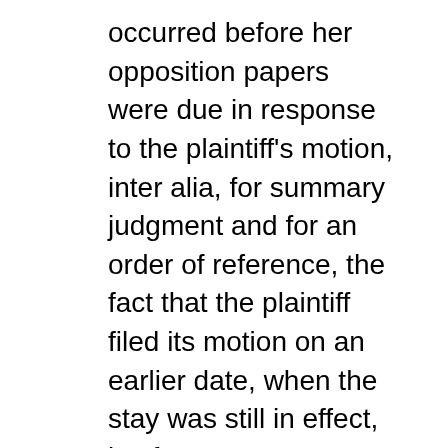occurred before her opposition papers were due in response to the plaintiff's motion, inter alia, for summary judgment and for an order of reference, the fact that the plaintiff filed its motion on an earlier date, when the stay was still in effect, is of no moment. Further, in regards to the suspension of the original attorney of record, the defendant's opposition papers and cross motion did not include any argument, at that time, that the motion before the Supreme Court violated the stay provisions of CPLR 321(c), further bolstering our conclusion that any issue regarding the existence of a stay had been waived.